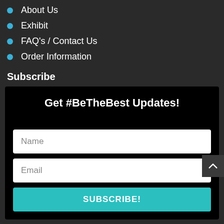About Us
Exhibit
FAQ's / Contact Us
Order Information
Subscribe
[Figure (screenshot): Subscribe form with heading 'Get #BeTheBest Updates!', Name input field, Email input field, and a teal SUBSCRIBE! button]
Get #BeTheBest Updates!
Name
Email
SUBSCRIBE!